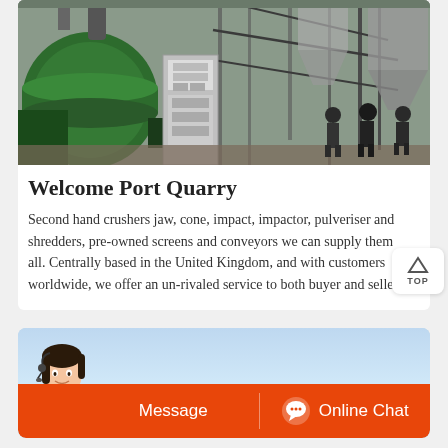[Figure (photo): Industrial quarry equipment scene: large green cylindrical machinery (mill/drum), electrical control cabinet, steel framework structure with silos/hoppers, three workers standing in background]
Welcome Port Quarry
Second hand crushers jaw, cone, impact, impactor, pulveriser and shredders, pre-owned screens and conveyors we can supply them all. Centrally based in the United Kingdom, and with customers worldwide, we offer an un-rivaled service to both buyer and seller.
[Figure (photo): Customer service agent (woman with headset) and online chat bar with Message and Online Chat buttons on orange background]